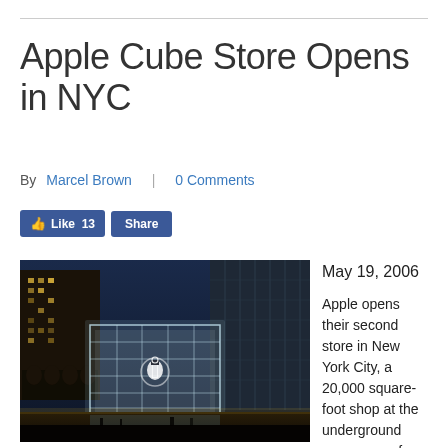Apple Cube Store Opens in NYC
By Marcel Brown | 0 Comments
[Figure (photo): Apple Cube Store on Fifth Avenue in New York City at night, showing the illuminated glass cube entrance with the Apple logo, surrounded by city buildings]
May 19, 2006

Apple opens their second store in New York City, a 20,000 square-foot shop at the underground concourse of